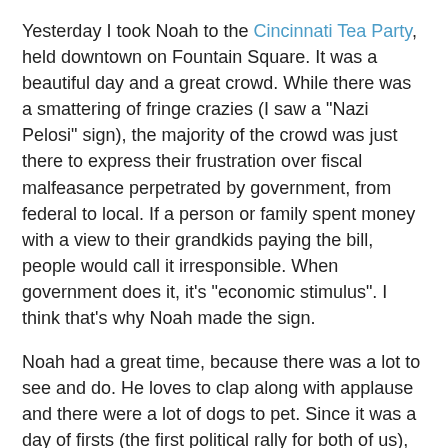Yesterday I took Noah to the Cincinnati Tea Party, held downtown on Fountain Square. It was a beautiful day and a great crowd. While there was a smattering of fringe crazies (I saw a "Nazi Pelosi" sign), the majority of the crowd was just there to express their frustration over fiscal malfeasance perpetrated by government, from federal to local. If a person or family spent money with a view to their grandkids paying the bill, people would call it irresponsible. When government does it, it's "economic stimulus". I think that's why Noah made the sign.
Noah had a great time, because there was a lot to see and do. He loves to clap along with applause and there were a lot of dogs to pet. Since it was a day of firsts (the first political rally for both of us), we took his first trip to the observation deck of the Carew Tower and got this shot of the crowd...
[Figure (photo): Aerial photograph of a large crowd gathered at Fountain Square in Cincinnati, taken from the observation deck of the Carew Tower. The image shows a dense crowd of people filling the plaza, with surrounding urban infrastructure visible.]